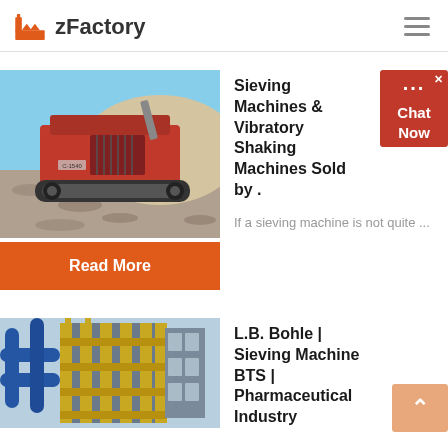zFactory
Sieving Machines & Vibratory Shaking Machines Sold by .
If a sieving machine is not quite ...
[Figure (photo): Red industrial sieving/screening machine on gravel site, outdoor setting]
Read More
L.B. Bohle | Sieving Machine BTS | Pharmaceutical Industry
[Figure (photo): Industrial facility with yellow scaffolding and blue pipes, construction site]